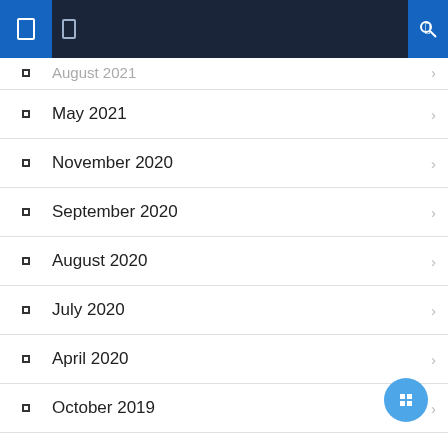Navigation bar with icons
August 2021 (truncated)
May 2021
November 2020
September 2020
August 2020
July 2020
April 2020
October 2019
July 2019
April 2019